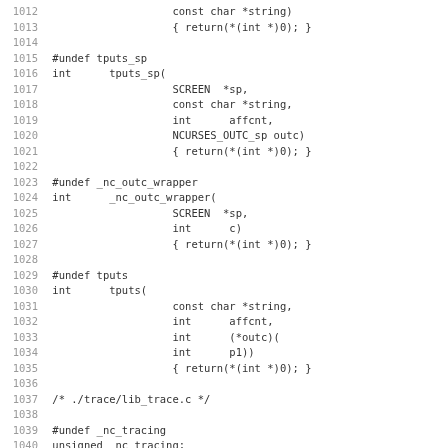Code listing lines 1012-1043 showing C function stubs for tputs_sp, _nc_outc_wrapper, tputs, and beginning of lib_trace.c declarations